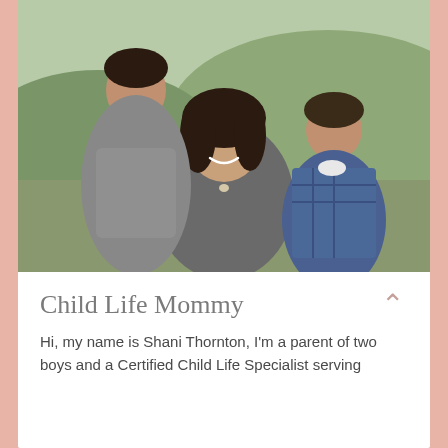[Figure (photo): A woman (Shani Thornton) smiling with two boys, one older boy on the left in a gray vest over maroon shirt, and a younger boy on the right in a blue plaid shirt. Outdoor setting with hills in the background.]
Child Life Mommy
Hi, my name is Shani Thornton, I'm a parent of two boys and a Certified Child Life Specialist serving